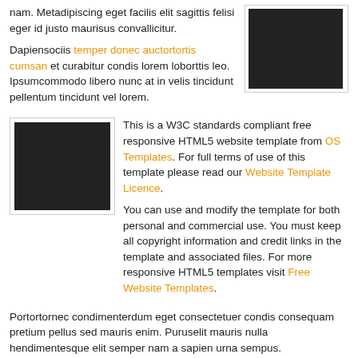nam. Metadipiscing eget facilis elit sagittis felisi eger id justo maurisus convallicitur.
Dapiensociis temper donec auctortortis cumsan et curabitur condis lorem loborttis leo. Ipsumcommodo libero nunc at in velis tincidunt pellentum tincidunt vel lorem.
[Figure (photo): Dark rectangular image placeholder on the right side]
[Figure (photo): Dark rectangular image placeholder on the left side]
This is a W3C standards compliant free responsive HTML5 website template from OS Templates. For full terms of use of this template please read our Website Template Licence.
You can use and modify the template for both personal and commercial use. You must keep all copyright information and credit links in the template and associated files. For more responsive HTML5 templates visit Free Website Templates.
Portortornec condimenterdum eget consectetuer condis consequam pretium pellus sed mauris enim. Puruselit mauris nulla hendimentesque elit semper nam a sapien urna sempus.